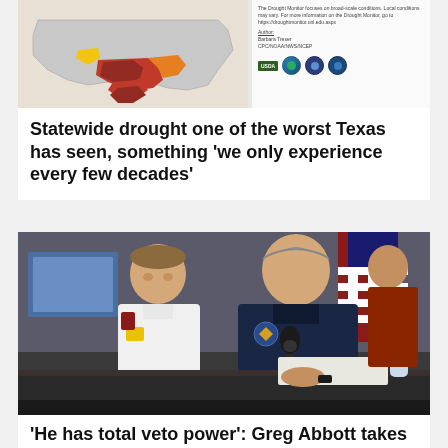[Figure (map): Drought monitor map of the United States showing severe drought conditions across Texas and surrounding states, with legend and agency logos (USDA, EPA, NOAA) in sidebar]
Statewide drought one of the worst Texas has seen, something 'we only experience every few decades'
[Figure (photo): Greg Abbott speaking at a press conference table with a microphone, seated next to a person in a white uniform shirt with a yellow badge. An American flag is visible in the background.]
'He has total veto power': Greg Abbott takes control over who will lead Texas' troubled power